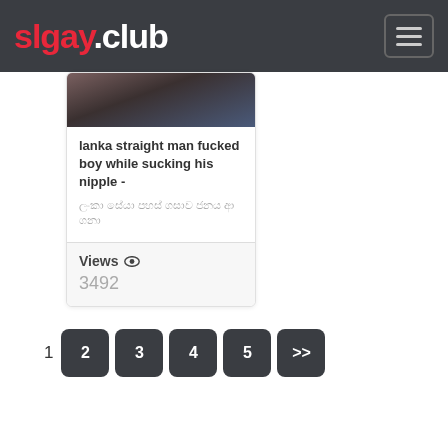slgay.club
[Figure (photo): Partial thumbnail image of a video at top of card]
lanka straight man fucked boy while sucking his nipple -
ලංකා සේයා පහස් ගසාව ජනය ආ ගනා
Views 3492
1  2  3  4  5  >>